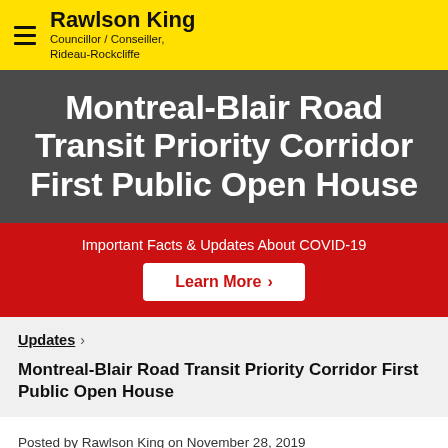Rawlson King
Councillor / Conseiller,
Rideau-Rockcliffe
Montreal-Blair Road Transit Priority Corridor First Public Open House
Important Facts & Updates About COVID-19
Learn More
Updates
Montreal-Blair Road Transit Priority Corridor First Public Open House
Posted by Rawlson King on November 28, 2019